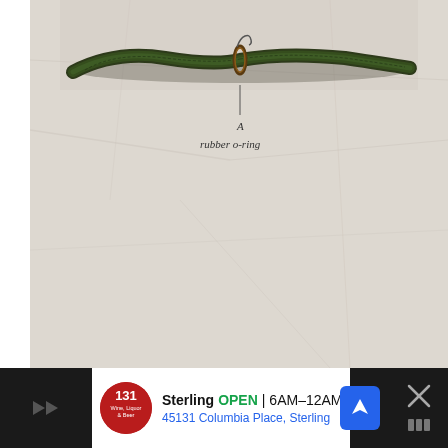[Figure (photo): A fishing lure (rubber worm) displayed on a white crumpled paper background. The worm is dark olive/green colored with a rubber o-ring visible near the center-top. A label 'A' points to the rubber o-ring with annotation text below reading 'rubber o-ring'.]
[Figure (screenshot): Advertisement bar at bottom of page for Sterling Wine, Liquor & Beer store. Shows store logo (red circle), store name 'Sterling', status 'OPEN', hours '6AM-12AM', address '45131 Columbia Place, Sterling'. Navigation icon (blue diamond with arrow) on right. Dark close/skip button area on far right with X symbol.]